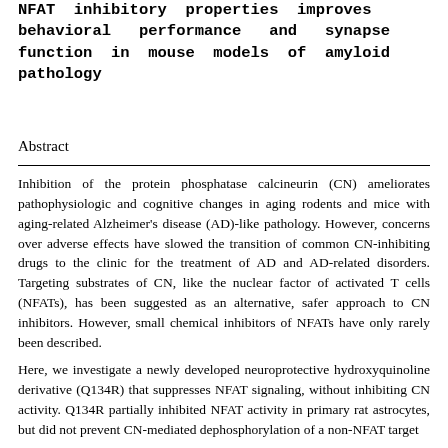NFAT inhibitory properties improves behavioral performance and synapse function in mouse models of amyloid pathology
Abstract
Inhibition of the protein phosphatase calcineurin (CN) ameliorates pathophysiologic and cognitive changes in aging rodents and mice with aging-related Alzheimer’s disease (AD)-like pathology. However, concerns over adverse effects have slowed the transition of common CN-inhibiting drugs to the clinic for the treatment of AD and AD-related disorders. Targeting substrates of CN, like the nuclear factor of activated T cells (NFATs), has been suggested as an alternative, safer approach to CN inhibitors. However, small chemical inhibitors of NFATs have only rarely been described.
Here, we investigate a newly developed neuroprotective hydroxyquinoline derivative (Q134R) that suppresses NFAT signaling, without inhibiting CN activity. Q134R partially inhibited NFAT activity in primary rat astrocytes, but did not prevent CN-mediated dephosphorylation of a non-NFAT target